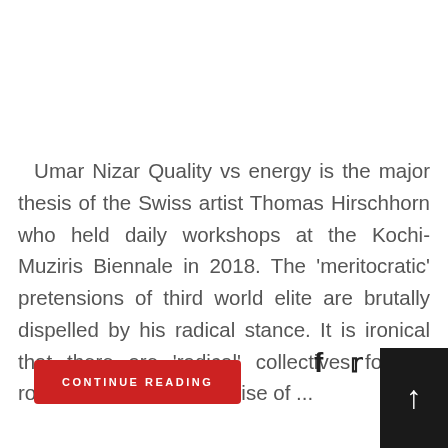Umar Nizar Quality vs energy is the major thesis of the Swiss artist Thomas Hirschhorn who held daily workshops at the Kochi-Muziris Biennale in 2018. The 'meritocratic' pretensions of third world elite are brutally dispelled by his radical stance. It is ironical that there are 'radical' collectives foisting rotten idealism, in the guise of ...
CONTINUE READING
[Figure (other): Social media icons: Facebook, Twitter, and two others partially visible]
[Figure (other): Dark scroll-to-top button with upward arrow]